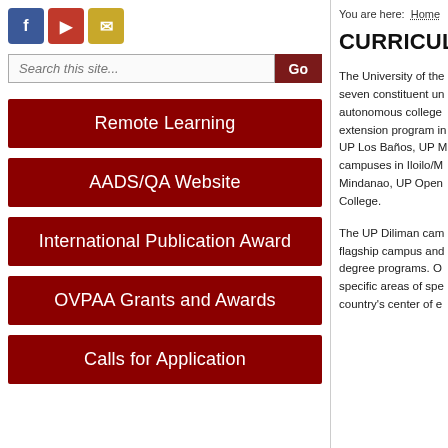[Figure (other): Social media icons: Facebook (blue), YouTube (red), Email (yellow)]
Search this site...
Remote Learning
AADS/QA Website
International Publication Award
OVPAA Grants and Awards
Calls for Application
You are here:  Home
CURRICULU
The University of the seven constituent un autonomous college extension program in UP Los Baños, UP M campuses in Iloilo/M Mindanao, UP Open College.
The UP Diliman cam flagship campus and degree programs. O specific areas of spe country's center of e